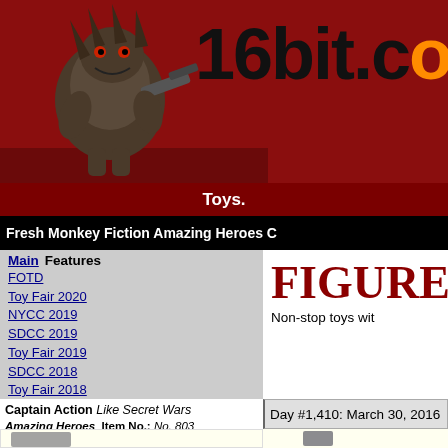[Figure (logo): 16bit.com website header with creature mascot logo on dark red background and site name '16bit.com' in large bold black text with orange 'o' letters]
Toys.
Fresh Monkey Fiction Amazing Heroes C
[Figure (illustration): FIGURE of th - Non-stop toys wit header banner in dark red serif text on white background]
Main
Features
FOTD
Toy Fair 2020
NYCC 2019
SDCC 2019
Toy Fair 2019
SDCC 2018
Toy Fair 2018
HasCon 2017
SDCC 2017
Toy Fair 2017
SDCC 2016
Toy Fair 2016
SDCC 2015
Toy Fair 2015
SDCC 2014
C2E2 2014
Toy Fair 2014
SDCC 2013
C2E2 2013
Toy Fair 2013
Day #1,410: March 30, 2016
[Figure (photo): Captain Action figure in black uniform with blue cap and colorful chest emblem]
Captain Action - Like Secret Wars
Amazing Heroes
Item No.: No. 803
Manufacturer: Fr
Includes: Vintage
Action Feature: